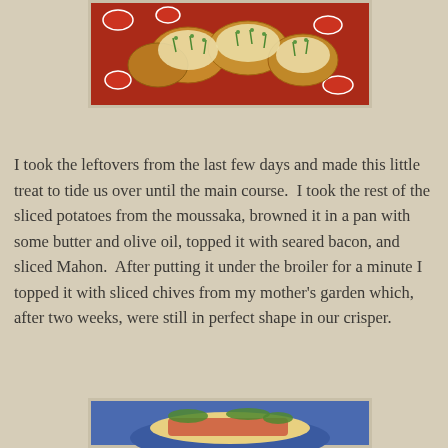[Figure (photo): Food photo showing sliced potatoes topped with melted cheese and green chives on a red patterned plate/cloth]
I took the leftovers from the last few days and made this little treat to tide us over until the main course.  I took the rest of the sliced potatoes from the moussaka, browned it in a pan with some butter and olive oil, topped it with seared bacon, and sliced Mahon.  After putting it under the broiler for a minute I topped it with sliced chives from my mother's garden which, after two weeks, were still in perfect shape in our crisper.
[Figure (photo): Food photo showing a dish on a blue plate, partially visible at the bottom of the page]